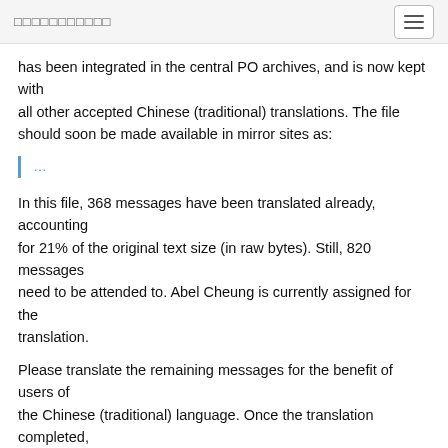□□□□□□□□□□□
has been integrated in the central PO archives, and is now kept with all other accepted Chinese (traditional) translations. The file should soon be made available in mirror sites as:
...
In this file, 368 messages have been translated already, accounting for 21% of the original text size (in raw bytes). Still, 820 messages need to be attended to. Abel Cheung is currently assigned for the translation.
Please translate the remaining messages for the benefit of users of the Chinese (traditional) language. Once the translation completed, send the result to the address given below, using the Subject line:
...
TR-Robot lynx 2.8.6 dev6 zh_TW.po